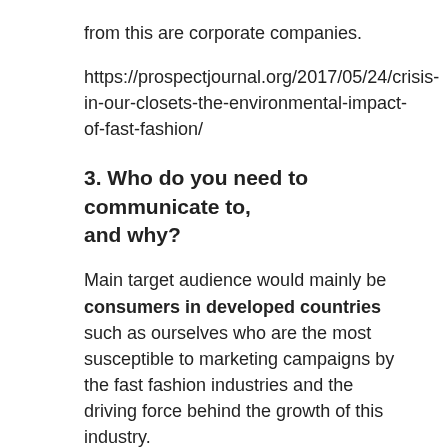from this are corporate companies.
https://prospectjournal.org/2017/05/24/crisis-in-our-closets-the-environmental-impact-of-fast-fashion/
3. Who do you need to communicate to, and why?
Main target audience would mainly be consumers in developed countries such as ourselves who are the most susceptible to marketing campaigns by the fast fashion industries and the driving force behind the growth of this industry.
Hopefully to raise awareness on the detrimental effects of overconsumption socially and environmentally, as well as lifestyle changes they can